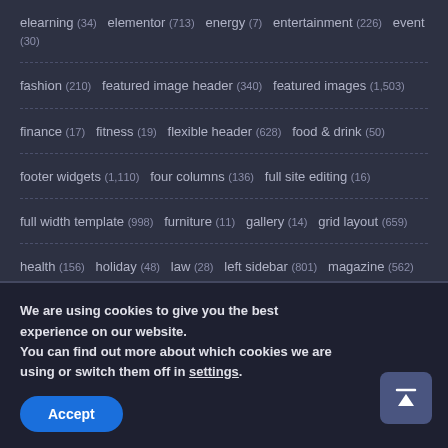elearning (34)  elementor (713)  energy (7)  entertainment (226)  event (30)
fashion (210)  featured image header (340)  featured images (1,503)
finance (17)  fitness (19)  flexible header (628)  food & drink (50)
footer widgets (1,110)  four columns (136)  full site editing (16)
full width template (998)  furniture (11)  gallery (14)  grid layout (659)
health (156)  holiday (48)  law (28)  left sidebar (801)  magazine (562)
We are using cookies to give you the best experience on our website.
You can find out more about which cookies we are using or switch them off in settings.